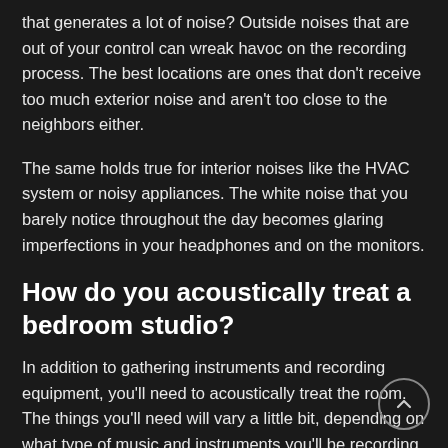that generates a lot of noise? Outside noises that are out of your control can wreak havoc on the recording process. The best locations are ones that don't receive too much exterior noise and aren't too close to the neighbors either.
The same holds true for interior noises like the HVAC system or noisy appliances. The white noise that you barely notice throughout the day becomes glaring imperfections in your headphones and on the monitors.
How do you acoustically treat a bedroom studio?
In addition to gathering instruments and recording equipment, you'll need to acoustically treat the room. The things you'll need will vary a little bit, depending on what type of music and instruments you'll be recording, but there are basic elements that apply to most studio treatments